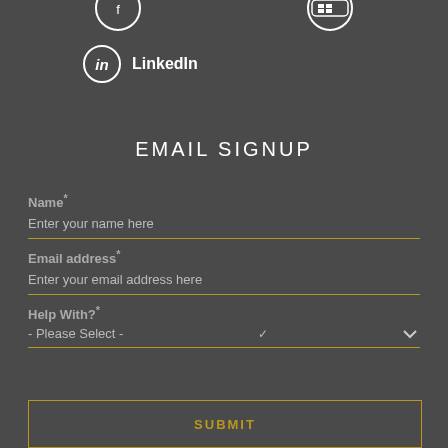[Figure (illustration): Social media icon circles at top – two partially visible icons at top corners and LinkedIn icon with label]
LinkedIn
EMAIL SIGNUP
Name*
Enter your name here
Email address*
Enter your email address here
Help With?*
- Please Select -
SUBMIT